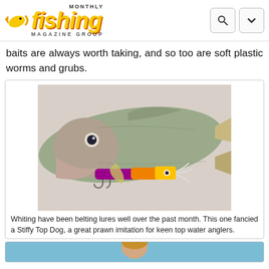[Figure (logo): Fishing Monthly Magazine Group logo with fish icon, yellow italic 'fishing' text, and 'MONTHLY' / 'MAGAZINE GROUP' labels. Navigation icons for search and dropdown on the right.]
baits are always worth taking, and so too are soft plastic worms and grubs.
[Figure (photo): Close-up photo of a whiting fish biting a colorful purple and orange/yellow fishing lure (Stiffy Top Dog) against a light background.]
Whiting have been belting lures well over the past month. This one fancied a Stiffy Top Dog, a great prawn imitation for keen top water anglers.
[Figure (photo): Partially visible second photo at bottom of page, showing a person's head and blue water background.]